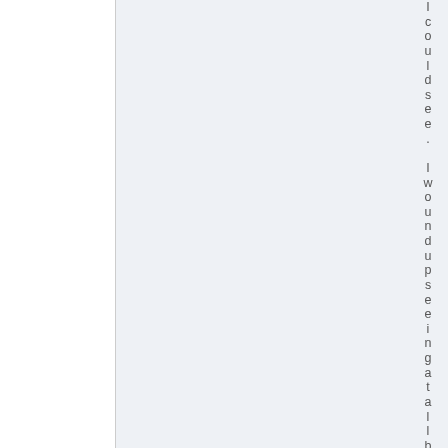I could see.  I woundupseeing at all b